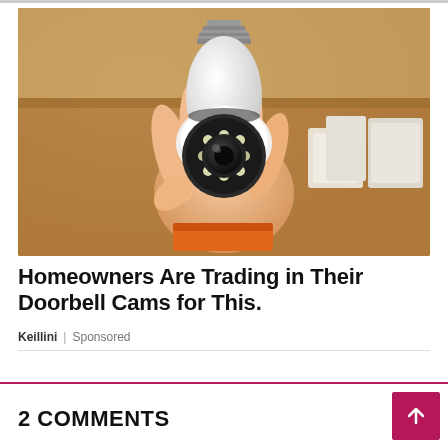[Figure (photo): A hand holding a white bulb-shaped security camera with a dark lens and LED lights arranged around it. The camera has a screw-type base like a light bulb. Background shows wooden shelving and boxes.]
Homeowners Are Trading in Their Doorbell Cams for This.
Keillini | Sponsored
2 COMMENTS